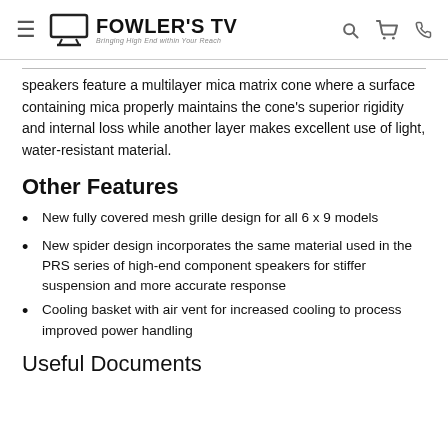FOWLER'S TV — Bringing High End within Your Reach
speakers feature a multilayer mica matrix cone where a surface containing mica properly maintains the cone's superior rigidity and internal loss while another layer makes excellent use of light, water-resistant material.
Other Features
New fully covered mesh grille design for all 6 x 9 models
New spider design incorporates the same material used in the PRS series of high-end component speakers for stiffer suspension and more accurate response
Cooling basket with air vent for increased cooling to process improved power handling
Useful Documents